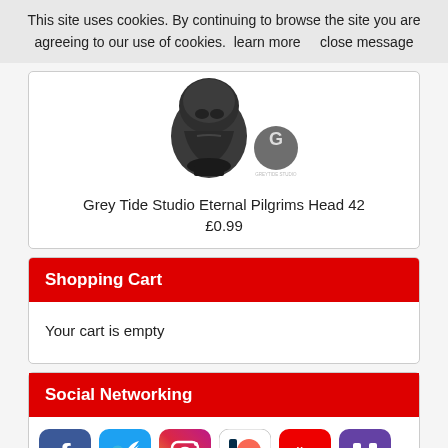This site uses cookies. By continuing to browse the site you are agreeing to our use of cookies.  learn more      close message
[Figure (photo): Product image of Grey Tide Studio Eternal Pilgrims Head 42 miniature - a dark grey sculpted head figure, with Greytide Studio logo watermark]
Grey Tide Studio Eternal Pilgrims Head 42
£0.99
Shopping Cart
Your cart is empty
Social Networking
[Figure (illustration): Social networking icons: Facebook, Twitter, Instagram, Patreon, YouTube, Twitch]
[Figure (illustration): Green back-to-top button with upward arrow chevron]